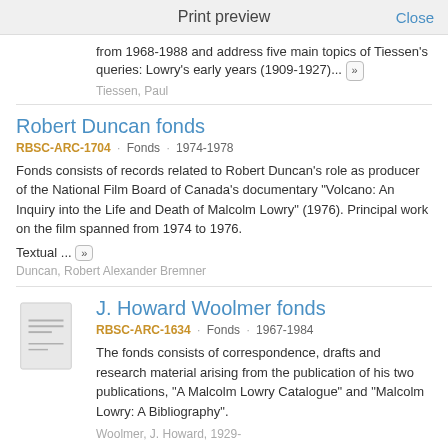Print preview   Close
from 1968-1988 and address five main topics of Tiessen's queries: Lowry's early years (1909-1927)... »
Tiessen, Paul
Robert Duncan fonds
RBSC-ARC-1704 · Fonds · 1974-1978
Fonds consists of records related to Robert Duncan's role as producer of the National Film Board of Canada's documentary "Volcano: An Inquiry into the Life and Death of Malcolm Lowry" (1976). Principal work on the film spanned from 1974 to 1976.
Textual ... »
Duncan, Robert Alexander Bremner
J. Howard Woolmer fonds
RBSC-ARC-1634 · Fonds · 1967-1984
The fonds consists of correspondence, drafts and research material arising from the publication of his two publications, "A Malcolm Lowry Catalogue" and "Malcolm Lowry: A Bibliography".
Woolmer, J. Howard, 1929-